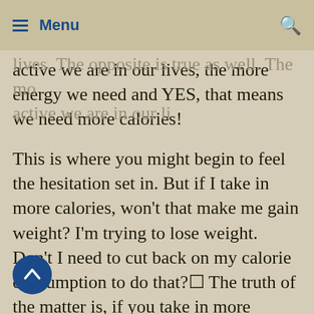Menu
we have, the more active we can be in our lives. The opposite is true as well. The more active we are in our lives, the more energy we need and YES, that means we need more calories!
This is where you might begin to feel the hesitation set in. But if I take in more calories, won't that make me gain weight? I'm trying to lose weight. Don't I need to cut back on my calorie consumption to do that? The truth of the matter is, if you take in more calories than you expend (burn off), then yes, you will gain weight. If you expend more calories than you consume, you will drop pounds. But if you take in too few calories you risk throwing your body's metabolism way out of whack. Instead of burning calories efficiently, you